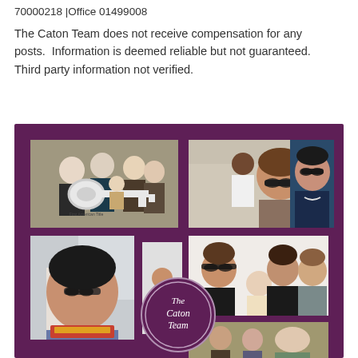70000218 |Office 01499008
The Caton Team does not receive compensation for any posts.  Information is deemed reliable but not guaranteed. Third party information not verified.
[Figure (photo): Purple background photo collage featuring multiple real estate client photos: a group holding a large symbolic key (First American Title), a woman in sunglasses with a man in background, a selfie of a smiling woman with glasses, a family group selfie with baby, a woman selfie outdoors, another outdoor group photo, and The Caton Team circular logo at the bottom center.]